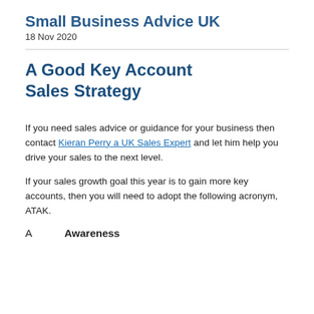Small Business Advice UK
18 Nov 2020
A Good Key Account Sales Strategy
If you need sales advice or guidance for your business then contact Kieran Perry a UK Sales Expert and let him help you drive your sales to the next level.
If your sales growth goal this year is to gain more key accounts, then you will need to adopt the following acronym, ATAK.
A    Awareness